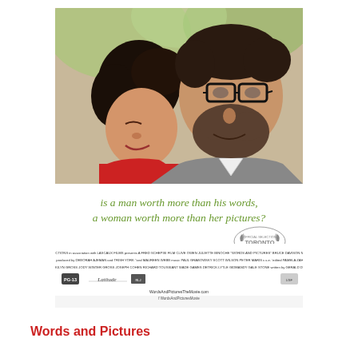[Figure (photo): Movie poster for 'Words and Pictures'. Shows a close-up of a woman with short dark hair smiling and a bearded man with glasses, facing each other intimately. Green italic tagline: 'is a man worth more than his words, a woman worth more than her pictures?' Toronto International Film Festival official selection laurel. Film credits in small text at bottom of poster. Website URL: WordsAndPicturesTheMovie.com]
Words and Pictures